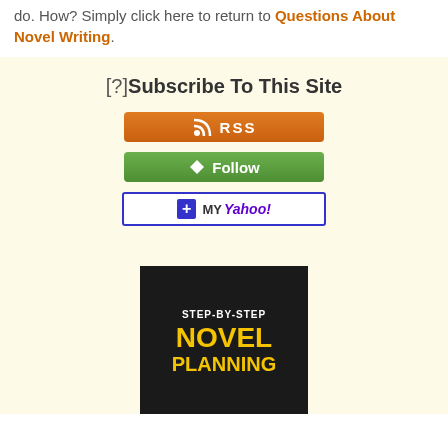do. How? Simply click here to return to Questions About Novel Writing.
[Figure (infographic): Subscribe To This Site section with RSS button, Follow button, and My Yahoo button]
[Figure (illustration): Step-by-Step Novel Planning book banner with yellow text on dark background]